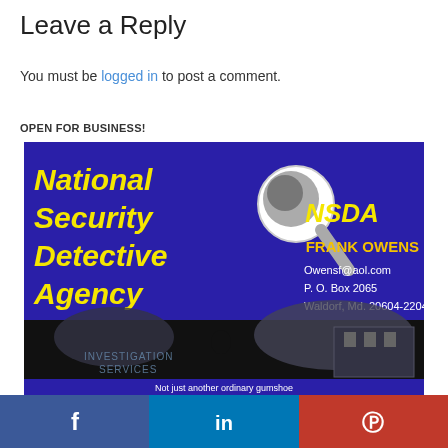Leave a Reply
You must be logged in to post a comment.
OPEN FOR BUSINESS!
[Figure (advertisement): National Security Detective Agency (NSDA) advertisement. Deep blue/purple background. Large yellow bold italic text reading 'National Security Detective Agency' on left side. NSDA logo with magnifying glass. Right side shows 'NSDA' in yellow, 'FRANK OWENS' in orange/yellow, contact info: Owensf@aol.com, P. O. Box 2065, Waldorf, Md. 20604-2204. Bottom half shows dark nighttime street scene with silhouette of person, text 'INVESTIGATION SERVICES' visible. Bottom strip reads 'Not just another ordinary gumshoe'.]
[Figure (infographic): Social media share bar with Facebook (blue), LinkedIn (blue), and Parler (red) icons.]